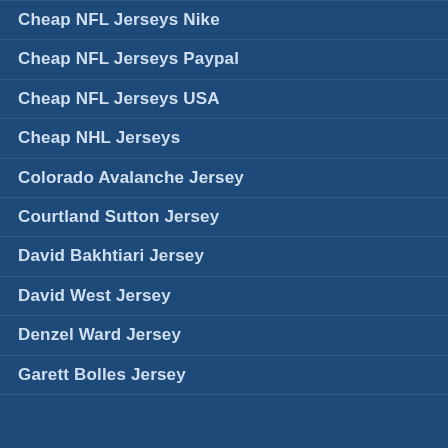Cheap NFL Jerseys Nike
Cheap NFL Jerseys Paypal
Cheap NFL Jerseys USA
Cheap NHL Jerseys
Colorado Avalanche Jersey
Courtland Sutton Jersey
David Bakhtiari Jersey
David West Jersey
Denzel Ward Jersey
Garett Bolles Jersey